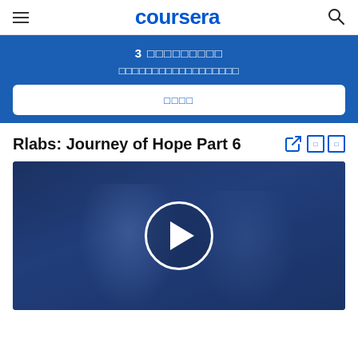coursera
3 □□□□□□□□□ □□□□□□□□□□□□□□□□□□
□□□□
Rlabs: Journey of Hope Part 6
[Figure (screenshot): Video thumbnail showing two people in a dark blue-tinted scene with a white circular play button overlay]